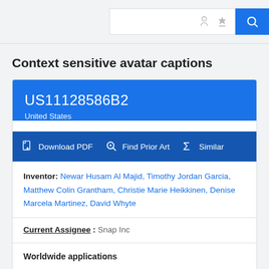Search bar with icons
Context sensitive avatar captions
US11128586B2
United States
Download PDF  Find Prior Art  Similar
Inventor: Newar Husam Al Majid, Timothy Jordan Garcia, Matthew Colin Grantham, Christie Marie Heikkinen, Denise Marcela Martinez, David Whyte
Current Assignee : Snap Inc
Worldwide applications
2019 · US  2020 · WO CN  2021 · US